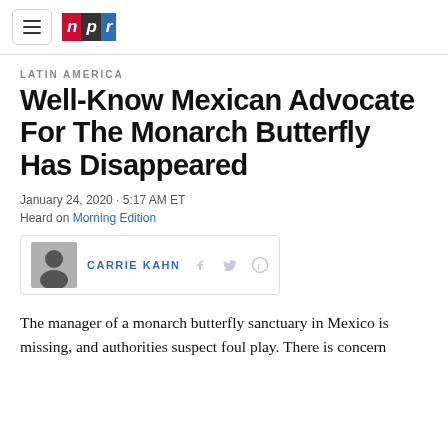NPR
LATIN AMERICA
Well-Know Mexican Advocate For The Monarch Butterfly Has Disappeared
January 24, 2020 · 5:17 AM ET
Heard on Morning Edition
CARRIE KAHN
The manager of a monarch butterfly sanctuary in Mexico is missing, and authorities suspect foul play. There is concern